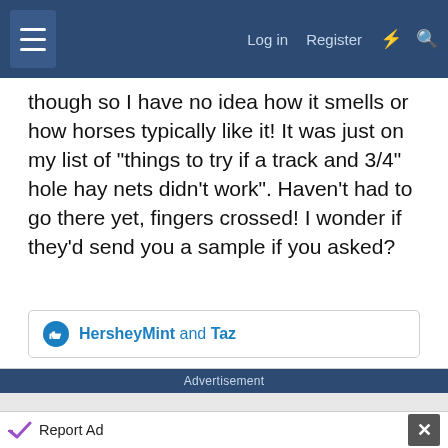Log in  Register
though so I have no idea how it smells or how horses typically like it! It was just on my list of "things to try if a track and 3/4" hole hay nets didn't work". Haven't had to go there yet, fingers crossed! I wonder if they'd send you a sample if you asked?
HersheyMint and Taz
Advertisement
Report Ad
Sense Forth
Make an impact with insights